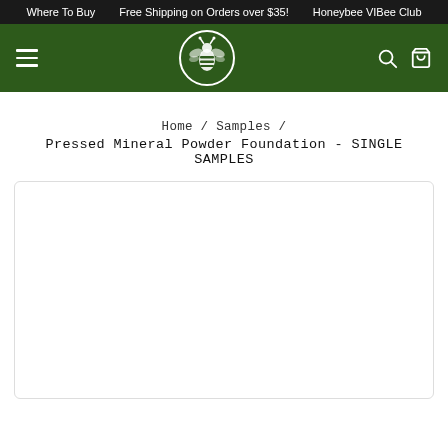Where To Buy   Free Shipping on Orders over $35!   Honeybee VIBee Club
[Figure (logo): Honeybee Gardens circular logo with bee and leaf design on dark green navigation bar with hamburger menu, search and cart icons]
Home / Samples / Pressed Mineral Powder Foundation - SINGLE SAMPLES
[Figure (photo): Product image area - white empty box placeholder for Pressed Mineral Powder Foundation product photo]